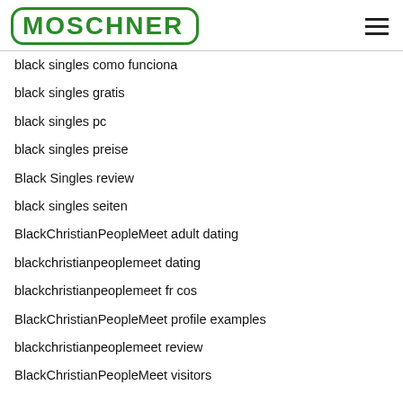MOSCHNER
black singles como funciona
black singles gratis
black singles pc
black singles preise
Black Singles review
black singles seiten
BlackChristianPeopleMeet adult dating
blackchristianpeoplemeet dating
blackchristianpeoplemeet fr cos
BlackChristianPeopleMeet profile examples
blackchristianpeoplemeet review
BlackChristianPeopleMeet visitors